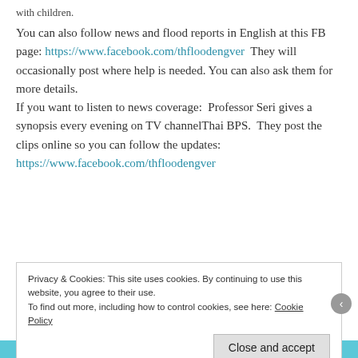with children.
You can also follow news and flood reports in English at this FB page: https://www.facebook.com/thfloodengver  They will occasionally post where help is needed. You can also ask them for more details.
If you want to listen to news coverage:  Professor Seri gives a synopsis every evening on TV channelThai BPS.  They post the clips online so you can follow the updates:
https://www.facebook.com/thfloodengver
Privacy & Cookies: This site uses cookies. By continuing to use this website, you agree to their use.
To find out more, including how to control cookies, see here: Cookie Policy
Close and accept